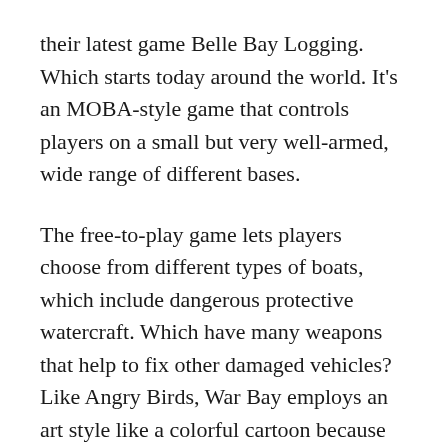their latest game Belle Bay Logging. Which starts today around the world. It's an MOBA-style game that controls players on a small but very well-armed, wide range of different bases.
The free-to-play game lets players choose from different types of boats, which include dangerous protective watercraft. Which have many weapons that help to fix other damaged vehicles? Like Angry Birds, War Bay employs an art style like a colorful cartoon because players are fighting their online opponents in multiplayer games. They can earn money after making matches to upgrade their weapons, items and more content. Guilds are also supported because players can team up and